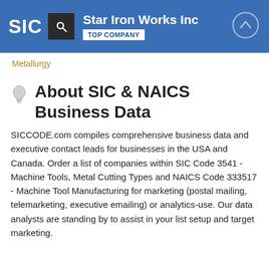Star Iron Works Inc | TOP COMPANY
Metallurgy
About SIC & NAICS Business Data
SICCODE.com compiles comprehensive business data and executive contact leads for businesses in the USA and Canada. Order a list of companies within SIC Code 3541 - Machine Tools, Metal Cutting Types and NAICS Code 333517 - Machine Tool Manufacturing for marketing (postal mailing, telemarketing, executive emailing) or analytics-use. Our data analysts are standing by to assist in your list setup and target marketing.